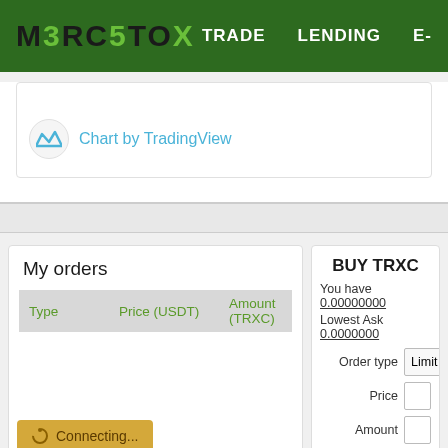MERCATOX — TRADE  LENDING  E-
[Figure (screenshot): TradingView chart watermark area showing 'Chart by TradingView' logo and text]
My orders
| Type | Price (USDT) | Amount (TRXC) |
| --- | --- | --- |
BUY TRXC
You have 0.00000000
Lowest Ask 0.0000000
Order type  Limit
Price
Amount
Fee  0.000000
Connecting...